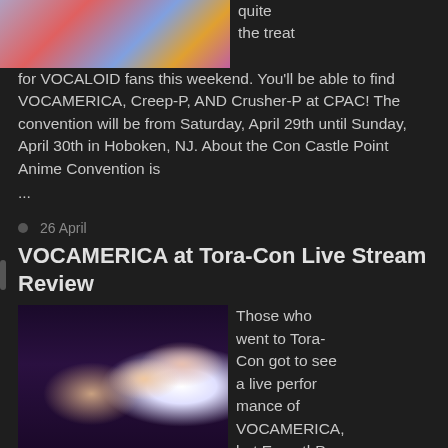[Figure (photo): Colorful anime-style illustration, partial view at the top of the page]
quite the treat for VOCALOID fans this weekend. You'll be able to find VOCAMERICA, Creep-P, AND Crusher-P at CPAC! The convention will be from Saturday, April 29th until Sunday, April 30th in Hoboken, NJ. About the Con Castle Point Anime Convention is ...
26 April
VOCAMERICA at Tora-Con Live Stream Review
[Figure (photo): Anime/3D CG characters on a dark stage: two characters in front and one with large white wings in the background]
Those who went to Tora-Con got to see a live perfor mance of VOCAMERICA, but EmpathP gave us a special treat as well! Both performances were streamed on YouTube. Everyone